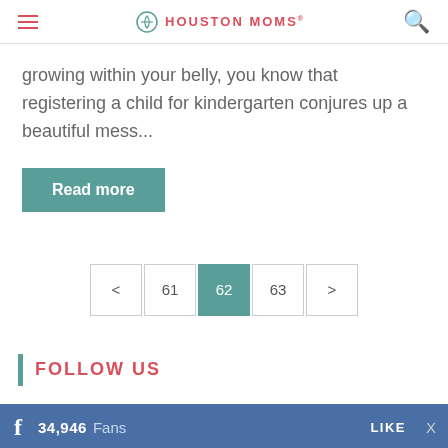HOUSTON MOMS
growing within your belly, you know that registering a child for kindergarten conjures up a beautiful mess...
Read more
< 61 62 63 >
FOLLOW US
34,946  Fans  LIKE